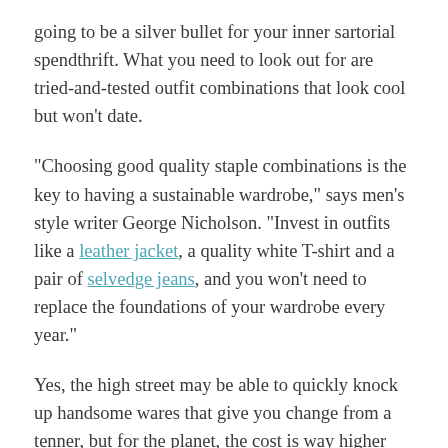going to be a silver bullet for your inner sartorial spendthrift. What you need to look out for are tried-and-tested outfit combinations that look cool but won't date.
“Choosing good quality staple combinations is the key to having a sustainable wardrobe,” says men’s style writer George Nicholson. “Invest in outfits like a leather jacket, a quality white T-shirt and a pair of selvedge jeans, and you won’t need to replace the foundations of your wardrobe every year.”
Yes, the high street may be able to quickly knock up handsome wares that give you change from a tenner, but for the planet, the cost is way higher with CO2 emissions from the fast-fashion cycle expected to reach 60 per cent by 2030.